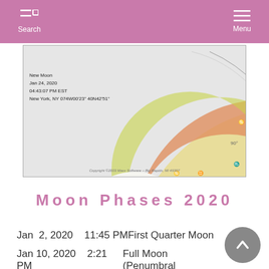Search  Menu
[Figure (other): Partial astrological natal chart wheel showing zodiac ring segments in orange, yellow-green and gold colors with degree markings. Text overlay reads: New Moon, Jan 24, 2020, 04:43:07 PM EST, New York, NY  074W00'23" 40N42'51". Copyright ©2003 Maxx Software – Big Rapids, MI 49307]
Moon Phases 2020
Jan  2, 2020    11:45 PM    First Quarter Moon
Jan 10, 2020     2:21 PM    Full Moon (Penumbral
Lunar Eclipse) 20 Cancer 00